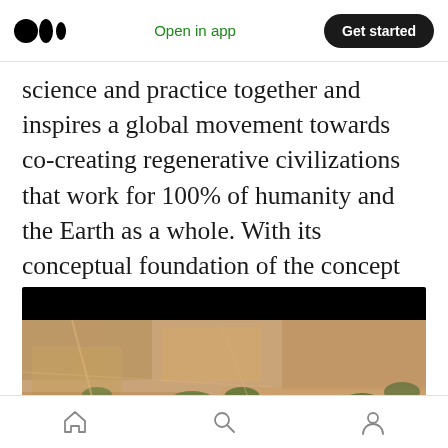Medium logo | Open in app | Get started
science and practice together and inspires a global movement towards co-creating regenerative civilizations that work for 100% of humanity and the Earth as a whole. With its conceptual foundation of the concept of transformation literacy it enhances the knowledge and capacity [...]
[Figure (photo): Aerial photograph of agricultural land with brown soil patches and sparse green vegetation, with a black banner at the top of the image.]
Home | Search | Profile navigation icons